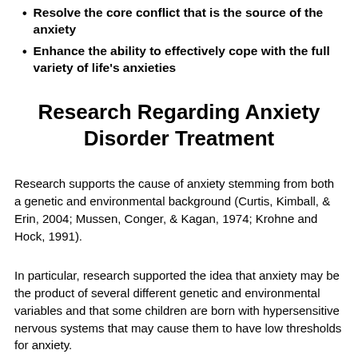Resolve the core conflict that is the source of the anxiety
Enhance the ability to effectively cope with the full variety of life's anxieties
Research Regarding Anxiety Disorder Treatment
Research supports the cause of anxiety stemming from both a genetic and environmental background (Curtis, Kimball, & Erin, 2004; Mussen, Conger, & Kagan, 1974; Krohne and Hock, 1991).
In particular, research supported the idea that anxiety may be the product of several different genetic and environmental variables and that some children are born with hypersensitive nervous systems that may cause them to have low thresholds for anxiety.